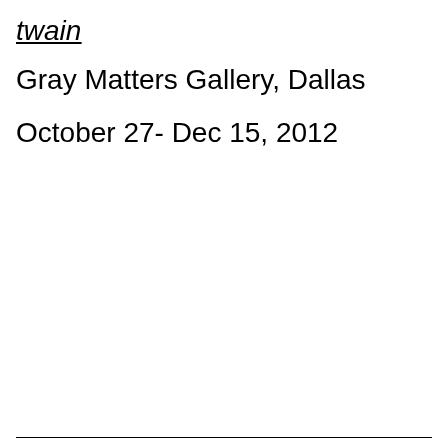twain
Gray Matters Gallery, Dallas
October 27- Dec 15, 2012